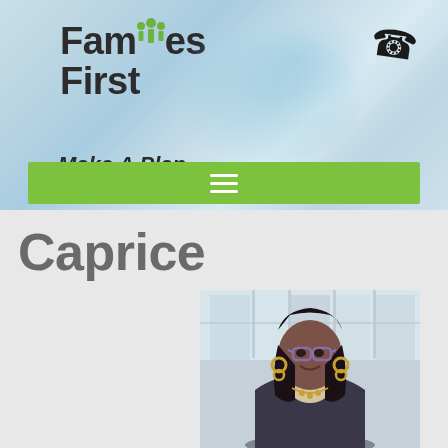[Figure (logo): Families First logo with green people icons, dark bold text]
Make A Plan
[Figure (other): Green navigation bar with hamburger menu icon]
Caprice
[Figure (photo): Professional headshot of woman named Caprice wearing glasses, earrings, blazer, smiling, in front of window with building view]